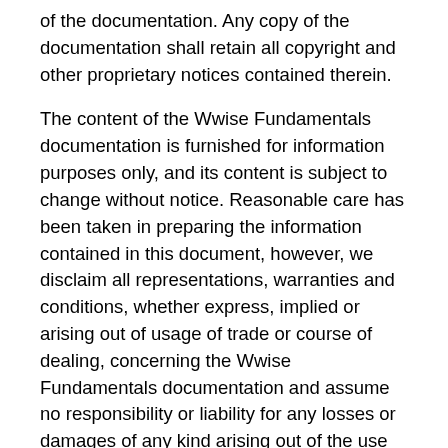of the documentation. Any copy of the documentation shall retain all copyright and other proprietary notices contained therein.
The content of the Wwise Fundamentals documentation is furnished for information purposes only, and its content is subject to change without notice. Reasonable care has been taken in preparing the information contained in this document, however, we disclaim all representations, warranties and conditions, whether express, implied or arising out of usage of trade or course of dealing, concerning the Wwise Fundamentals documentation and assume no responsibility or liability for any losses or damages of any kind arising out of the use of this guide or of any error or inaccuracy it may contain, even if we have been advised of the possibility of such loss or damage.
Wwise®, Audiokinetic®, Actor-Mixer®, SoundFrame® and SoundSeed® are registered trademarks, and Master-Mixer™, SoundCaster™ and Randomizer™ are trademarks, of Audiokinetic. Other trademarks, trade names or company names referenced herein may be the property